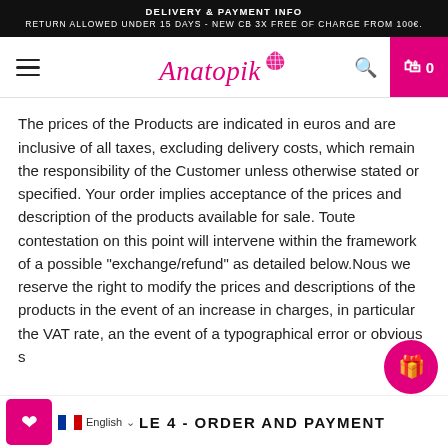DELIVERY & PAYMENT INFO
RETURN ALLOWED UNDER 15 DAYS - NEW CB 3X FREE OF CHARGE FROM 100€.
[Figure (logo): Anatopik logo with shell icon and pink cursive text]
The prices of the Products are indicated in euros and are inclusive of all taxes, excluding delivery costs, which remain the responsibility of the Customer unless otherwise stated or specified. Your order implies acceptance of the prices and description of the products available for sale. Toute contestation on this point will intervene within the framework of a possible "exchange/refund" as detailed below.Nous we reserve the right to modify the prices and descriptions of the products in the event of an increase in charges, in particular the VAT rate, an the event of a typographical error or obvious s
LE 4 - ORDER AND PAYMENT